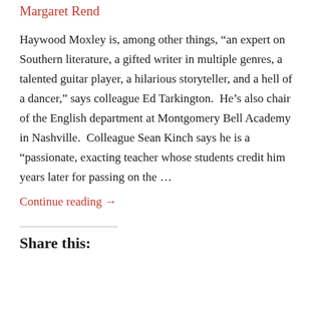Margaret Rend
Haywood Moxley is, among other things, “an expert on Southern literature, a gifted writer in multiple genres, a talented guitar player, a hilarious storyteller, and a hell of a dancer,” says colleague Ed Tarkington.  He’s also chair of the English department at Montgomery Bell Academy in Nashville.  Colleague Sean Kinch says he is a “passionate, exacting teacher whose students credit him years later for passing on the …
Continue reading →
Share this: